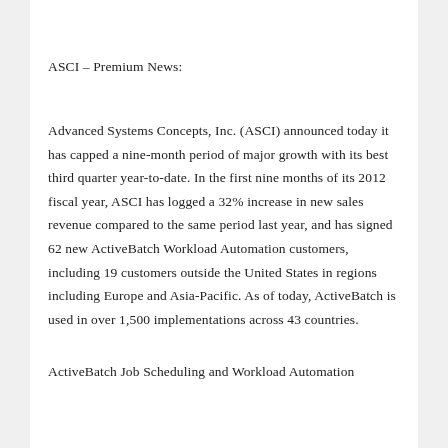ASCI – Premium News:
Advanced Systems Concepts, Inc. (ASCI) announced today it has capped a nine-month period of major growth with its best third quarter year-to-date. In the first nine months of its 2012 fiscal year, ASCI has logged a 32% increase in new sales revenue compared to the same period last year, and has signed 62 new ActiveBatch Workload Automation customers, including 19 customers outside the United States in regions including Europe and Asia-Pacific. As of today, ActiveBatch is used in over 1,500 implementations across 43 countries.
ActiveBatch Job Scheduling and Workload Automation